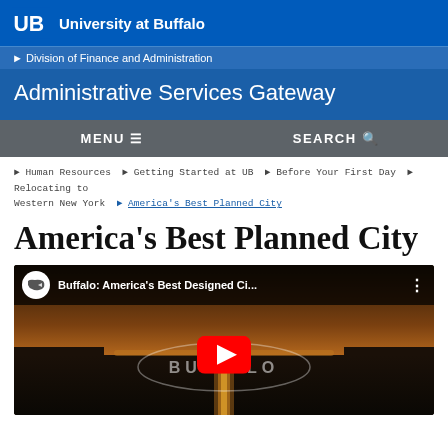UB University at Buffalo
Division of Finance and Administration
Administrative Services Gateway
MENU  SEARCH
Human Resources > Getting Started at UB > Before Your First Day > Relocating to Western New York > America's Best Planned City
America's Best Planned City
[Figure (screenshot): YouTube video thumbnail showing 'Buffalo: America's Best Designed Ci...' with a sunset over water, a Buffalo logo overlay, and a red YouTube play button in the center.]